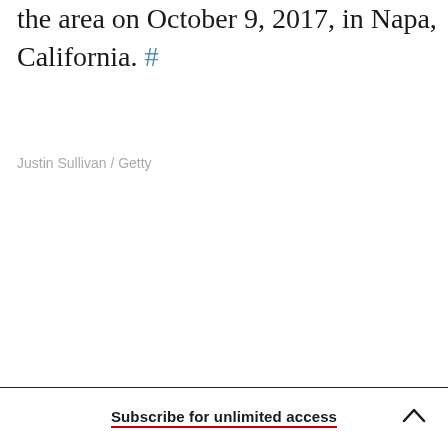the area on October 9, 2017, in Napa, California. #
Justin Sullivan / Getty
Subscribe for unlimited access